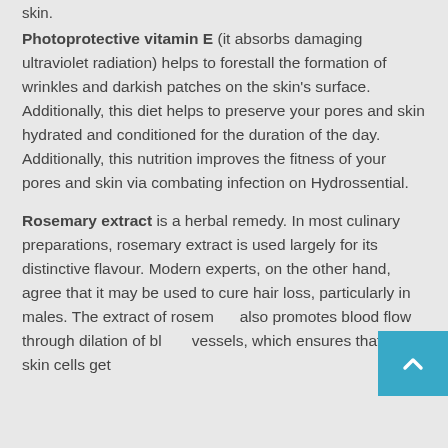skin.
Photoprotective vitamin E (it absorbs damaging ultraviolet radiation) helps to forestall the formation of wrinkles and darkish patches on the skin's surface. Additionally, this diet helps to preserve your pores and skin hydrated and conditioned for the duration of the day. Additionally, this nutrition improves the fitness of your pores and skin via combating infection on Hydrossential.
Rosemary extract is a herbal remedy. In most culinary preparations, rosemary extract is used largely for its distinctive flavour. Modern experts, on the other hand, agree that it may be used to cure hair loss, particularly in males. The extract of rosemary also promotes blood flow through dilation of blood vessels, which ensures that the skin cells get